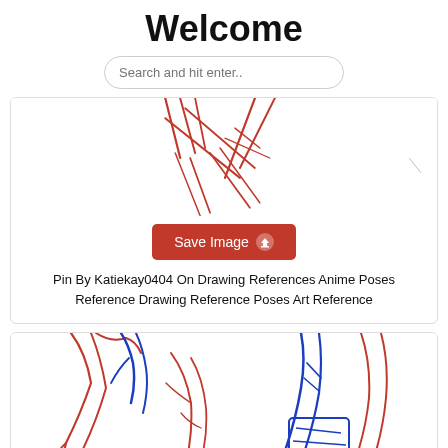Welcome
Search and hit enter..
[Figure (illustration): Partial view of an anime-style figure drawing in red ink showing legs and torso with gestural lines]
Save Image
Pin By Katiekay0404 On Drawing References Anime Poses Reference Drawing Reference Poses Art Reference
[Figure (illustration): Anime-style figure drawing with red and blue lines showing a figure in a leaning/crouching pose, arms and legs visible]